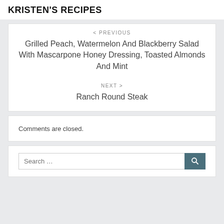KRISTEN'S RECIPES
< PREVIOUS
Grilled Peach, Watermelon And Blackberry Salad With Mascarpone Honey Dressing, Toasted Almonds And Mint
NEXT >
Ranch Round Steak
Comments are closed.
Search …